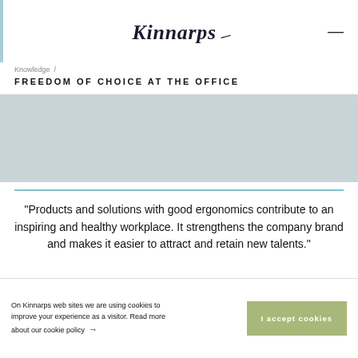Kinnarps
Knowledge /
FREEDOM OF CHOICE AT THE OFFICE
[Figure (photo): Gray placeholder image area representing a hero/banner photo]
"Products and solutions with good ergonomics contribute to an inspiring and healthy workplace. It strengthens the company brand and makes it easier to attract and retain new talents."
On Kinnarps web sites we are using cookies to improve your experience as a visitor. Read more about our cookie policy → I accept cookies